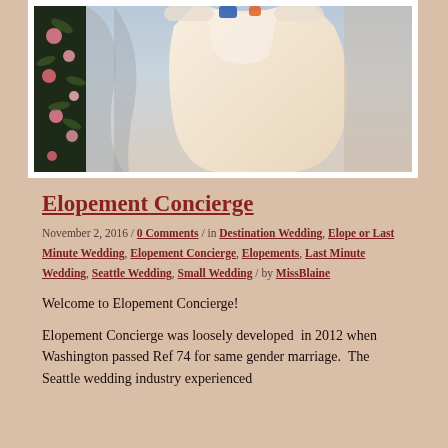[Figure (photo): Wedding photo showing a bride in a lace and tulle champagne/blush ballgown dress, with a floral dark fabric decoration on the left side. The image is partially cropped at the top.]
Elopement Concierge
November 2, 2016 / 0 Comments / in Destination Wedding, Elope or Last Minute Wedding, Elopement Concierge, Elopements, Last Minute Wedding, Seattle Wedding, Small Wedding / by MissBlaine
Welcome to Elopement Concierge!
Elopement Concierge was loosely developed in 2012 when Washington passed Ref 74 for same gender marriage. The Seattle wedding industry experienced